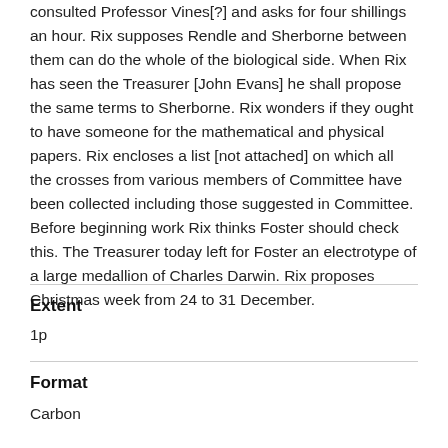consulted Professor Vines[?] and asks for four shillings an hour. Rix supposes Rendle and Sherborne between them can do the whole of the biological side. When Rix has seen the Treasurer [John Evans] he shall propose the same terms to Sherborne. Rix wonders if they ought to have someone for the mathematical and physical papers. Rix encloses a list [not attached] on which all the crosses from various members of Committee have been collected including those suggested in Committee. Before beginning work Rix thinks Foster should check this. The Treasurer today left for Foster an electrotype of a large medallion of Charles Darwin. Rix proposes Christmas week from 24 to 31 December.
Extent
1p
Format
Carbon